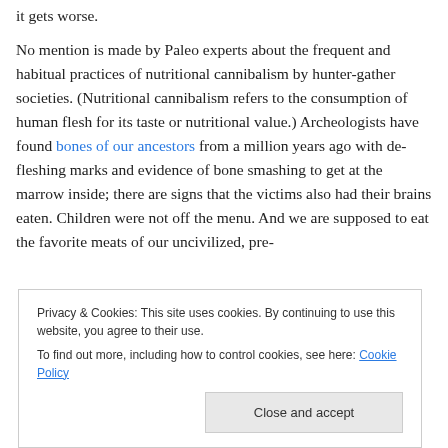it gets worse.
No mention is made by Paleo experts about the frequent and habitual practices of nutritional cannibalism by hunter-gather societies. (Nutritional cannibalism refers to the consumption of human flesh for its taste or nutritional value.) Archeologists have found bones of our ancestors from a million years ago with de-fleshing marks and evidence of bone smashing to get at the marrow inside; there are signs that the victims also had their brains eaten. Children were not off the menu. And we are supposed to eat the favorite meats of our uncivilized, pre-
Privacy & Cookies: This site uses cookies. By continuing to use this website, you agree to their use.
To find out more, including how to control cookies, see here: Cookie Policy